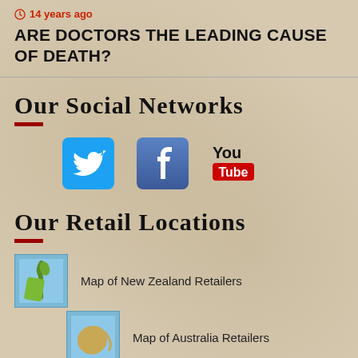14 years ago
ARE DOCTORS THE LEADING CAUSE OF DEATH?
Our Social Networks
[Figure (logo): Twitter, Facebook, and YouTube social media icons]
Our Retail Locations
[Figure (map): Thumbnail map of New Zealand]
Map of New Zealand Retailers
[Figure (map): Thumbnail map of Australia]
Map of Australia Retailers